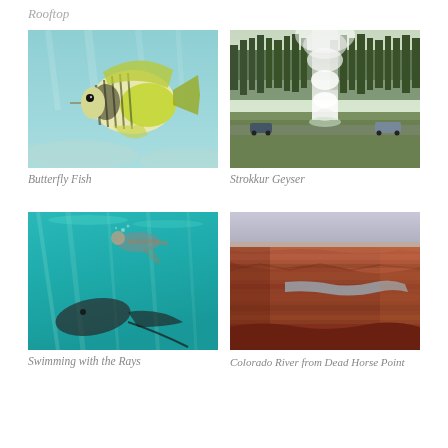Rooftop
[Figure (photo): Underwater photograph of a butterfly fish with striped body and yellow-green coloring swimming in turquoise water]
Butterfly Fish
[Figure (photo): Photograph of a geyser (Strokkur) shooting a tall column of steam/water into the air, with green trees and parked cars visible in background]
Strokkur Geyser
[Figure (photo): Underwater photograph of a person swimming with stingrays in turquoise water]
Swimming with the Rays
[Figure (photo): Aerial photograph of the Colorado River winding through red rock canyons as seen from Dead Horse Point, with hazy sky above]
Colorado River from Dead Horse Point